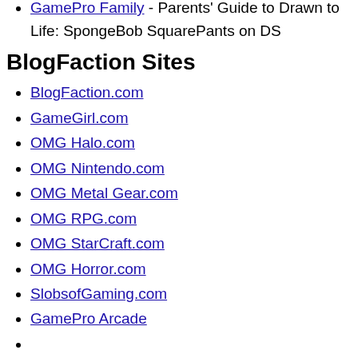GamePro Family - Parents' Guide to Drawn to Life: SpongeBob SquarePants on DS
BlogFaction Sites
BlogFaction.com
GameGirl.com
OMG Halo.com
OMG Nintendo.com
OMG Metal Gear.com
OMG RPG.com
OMG StarCraft.com
OMG Horror.com
SlobsofGaming.com
GamePro Arcade
GamePro.com
BlogFaction.com
GameGirl.com
GameProArcade.com
SlobsOfGaming.com
International:
GameStar.de(Germany)